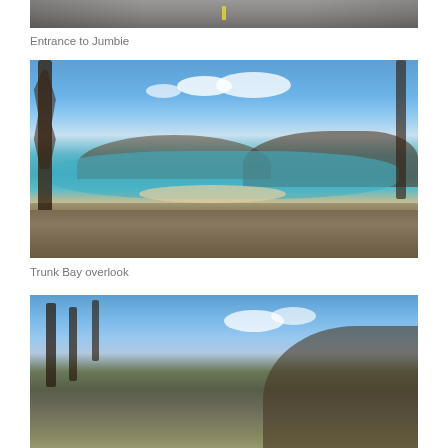[Figure (photo): Cropped top of a road photo showing asphalt with a yellow center line — entrance to Jumbie]
Entrance to Jumbie
[Figure (photo): Trunk Bay overlook showing turquoise water, white sand beach, small islands, brown-vegetation hillsides after hurricane damage, a stone wall in the foreground, blue sky with clouds, and bare dead trees on the left]
Trunk Bay overlook
[Figure (photo): Cropped bottom photo showing bare dead tree branches against a blue sky with clouds and brown hurricane-damaged hillside vegetation]